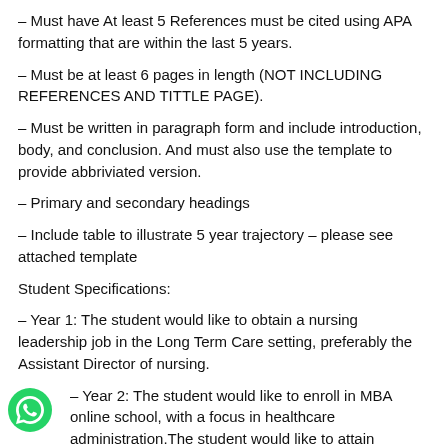– Must have At least 5 References must be cited using APA formatting that are within the last 5 years.
– Must be at least 6 pages in length (NOT INCLUDING REFERENCES AND TITTLE PAGE).
– Must be written in paragraph form and include introduction, body, and conclusion. And must also use the template to provide abbriviated version.
– Primary and secondary headings
– Include table to illustrate 5 year trajectory – please see attached template
Student Specifications:
– Year 1: The student would like to obtain a nursing leadership job in the Long Term Care setting, preferably the Assistant Director of nursing.
– Year 2: The student would like to enroll in MBA online school, with a focus in healthcare administration.The student would like to attain Director of nursing status.